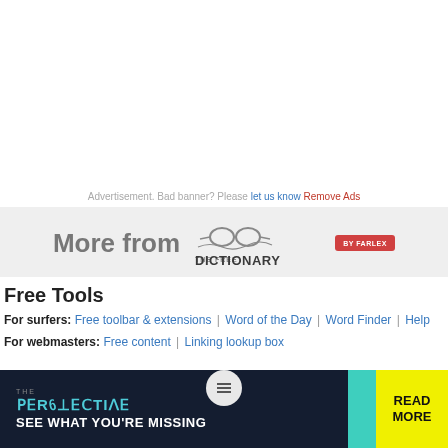Advertisement. Bad banner? Please let us know Remove Ads
[Figure (logo): More from The Free Dictionary by Farlex logo banner]
Free Tools
For surfers: Free toolbar & extensions | Word of the Day | Word Finder | Help
For webmasters: Free content | Linking lookup box
[Figure (infographic): Advertisement banner: THE PERSPECTIVE - SEE WHAT YOU'RE MISSING | READ MORE]